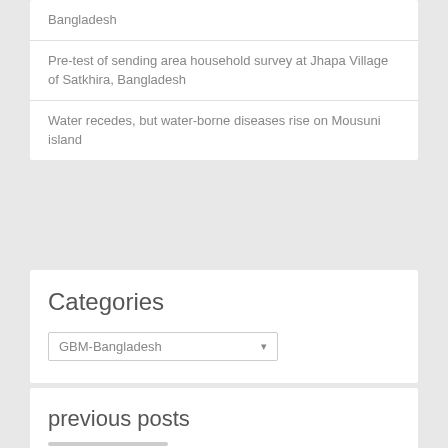Bangladesh
Pre-test of sending area household survey at Jhapa Village of Satkhira, Bangladesh
Water recedes, but water-borne diseases rise on Mousuni island
Categories
GBM-Bangladesh
previous posts